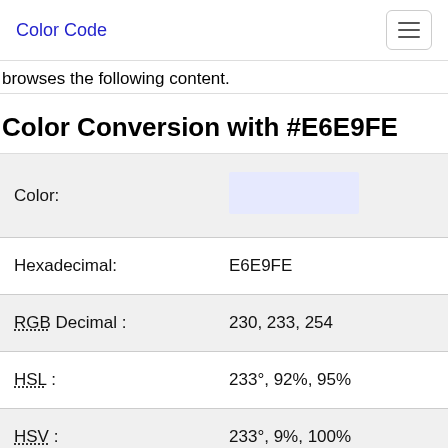Color Code
browses the following content.
Color Conversion with #E6E9FE
| Property | Value |
| --- | --- |
| Color: |  |
| Hexadecimal: | E6E9FE |
| RGB Decimal : | 230, 233, 254 |
| HSL : | 233°, 92%, 95% |
| HSV : | 233°, 9%, 100% |